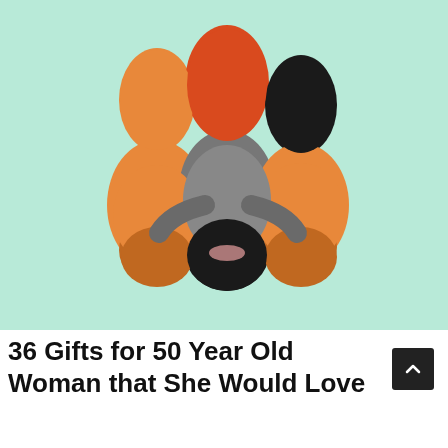[Figure (illustration): Illustration of three women seen from behind, arms around each other, with orange/red hair colors and black clothing, on a mint/light green background.]
36 Gifts for 50 Year Old Woman that She Would Love